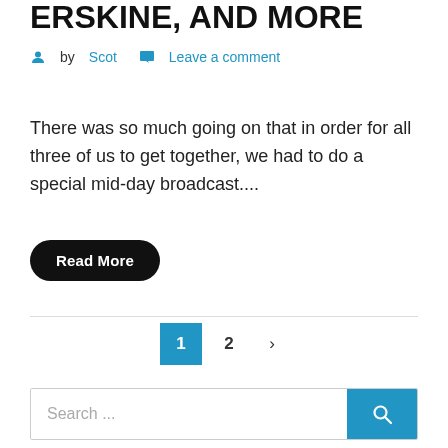ERSKINE, AND MORE
by Scot   Leave a comment
There was so much going on that in order for all three of us to get together, we had to do a special mid-day broadcast....
Read More
1  2  >
Search ...
JOIN THE DISCUSSION!